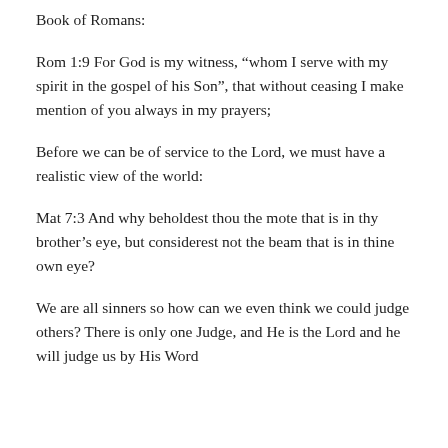Book of Romans:
Rom 1:9 For God is my witness, “whom I serve with my spirit in the gospel of his Son”, that without ceasing I make mention of you always in my prayers;
Before we can be of service to the Lord, we must have a realistic view of the world:
Mat 7:3 And why beholdest thou the mote that is in thy brother’s eye, but considerest not the beam that is in thine own eye?
We are all sinners so how can we even think we could judge others? There is only one Judge, and He is the Lord and he will judge us by His Word